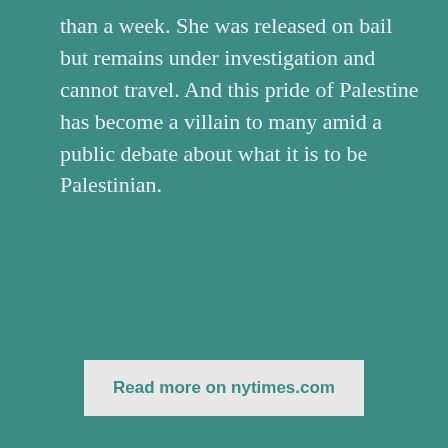than a week. She was released on bail but remains under investigation and cannot travel. And this pride of Palestine has become a villain to many amid a public debate about what it is to be Palestinian.
Read more on nytimes.com